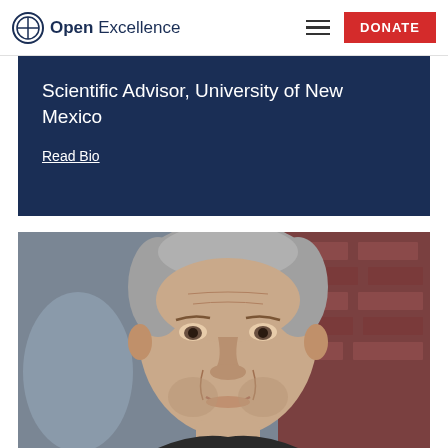Open Excellence — navigation bar with logo, hamburger menu, and DONATE button
Scientific Advisor, University of New Mexico
Read Bio
[Figure (photo): Close-up portrait photo of an older man with grey hair, slight smile, wearing dark clothing, photographed outdoors against a reddish-brown brick background]